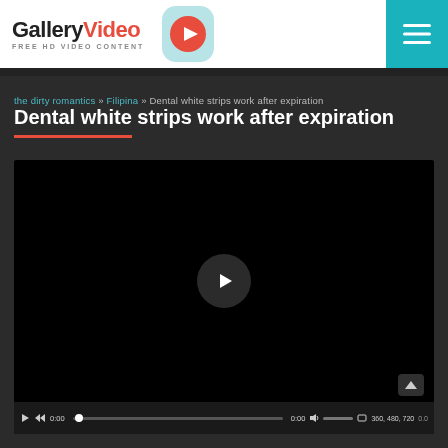GalleryVideo FREE HD VIDEO CONTENT
the dirty romantics » Filipina » Dental white strips work after expiration
Dental white strips work after expiration
[Figure (screenshot): Embedded video player with black background, play button, and video controls bar showing 0:00 timecode, progress bar, volume, quality options (360, 480, 720)]